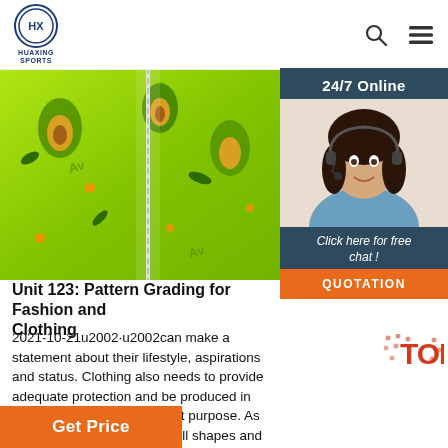HUAXING SPORTS
[Figure (photo): Green avocado-patterned neoprene fabric/clothing item with zipper, cropped top view]
[Figure (photo): 24/7 Online chat widget showing female customer service agent wearing headset, with 'Click here for free chat!' text and QUOTATION button]
Unit 123: Pattern Grading for Fashion and Clothing
2021-10-21u2002·u2002can make a statement about their lifestyle, aspirations and status. Clothing also needs to provide adequate protection and be produced in materials appropriate for that purpose. As the human figure comes in all shapes and sizes, designers and producers need to have the skills necessary to design and make garments that cater for this range.
[Figure (logo): TOP logo watermark in red with dot pattern]